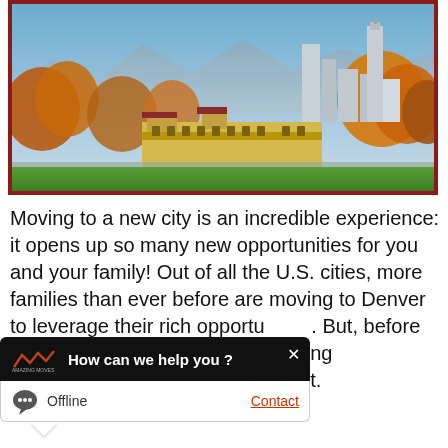[Figure (photo): Aerial/wide-angle photo of Denver city skyline with autumn foliage trees and a park building in the foreground, mountains in background, framed with a dark red border.]
Moving to a new city is an incredible experience: it opens up so many new opportunities for you and your family! Out of all the U.S. cities, more families than ever before are moving to Denver to leverage their rich opportunities. But, before you pack up and start up the moving things you should know, consider, and do first.
[Figure (screenshot): Chat widget overlay with black header showing 'How can we help you ?' with an X close button, and a white footer showing a chat bubble icon, 'Offline' text, and an orange 'Contact' link.]